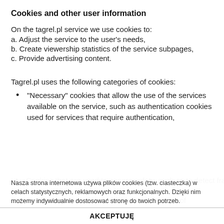Cookies and other user information
On the tagrel.pl service we use cookies to:
a. Adjust the service to the user’s needs,
b. Create viewership statistics of the service subpages,
c. Provide advertising content.
Tagrel.pl uses the following categories of cookies:
“Necessary” cookies that allow the use of the services available on the service, such as authentication cookies used for services that require authentication,
Cookies that are used to ensure safety, such as to detect fraud in connection with the service,
“Performance” cookies, which allow collection of information on how the pages of the service are used,
“Functional” cookies, which allow the settings selected
Nasza strona internetowa używa plików cookies (tzw. ciasteczka) w celach statystycznych, reklamowych oraz funkcjonalnych. Dzięki nim możemy indywidualnie dostosować stronę do twoich potrzeb.
AKCEPTUJĘ